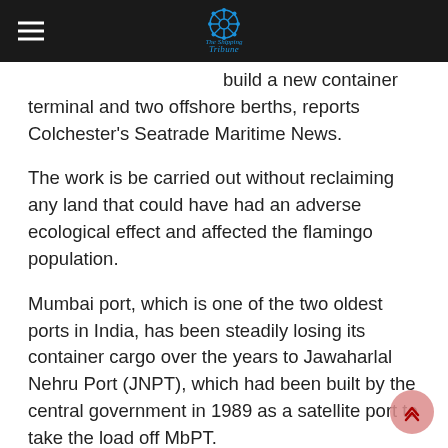The Shipping Tribune
build a new container terminal and two offshore berths, reports Colchester's Seatrade Maritime News.
The work is be carried out without reclaiming any land that could have had an adverse ecological effect and affected the flamingo population.
Mumbai port, which is one of the two oldest ports in India, has been steadily losing its container cargo over the years to Jawaharlal Nehru Port (JNPT), which had been built by the central government in 1989 as a satellite port to take the load off MbPT.
But while JNPT went on to attain the position of the country's top container port, and barged